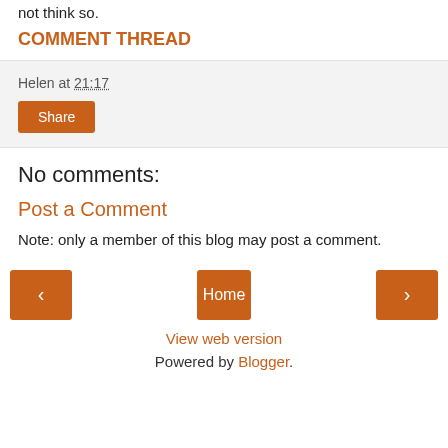not think so.
COMMENT THREAD
Helen at 21:17
Share
No comments:
Post a Comment
Note: only a member of this blog may post a comment.
< Home >
View web version
Powered by Blogger.